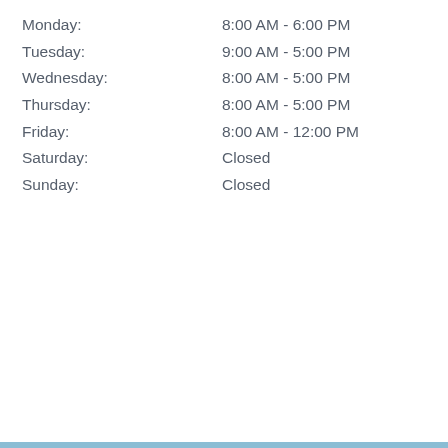Monday: 8:00 AM - 6:00 PM
Tuesday: 9:00 AM - 5:00 PM
Wednesday: 8:00 AM - 5:00 PM
Thursday: 8:00 AM - 5:00 PM
Friday: 8:00 AM - 12:00 PM
Saturday: Closed
Sunday: Closed